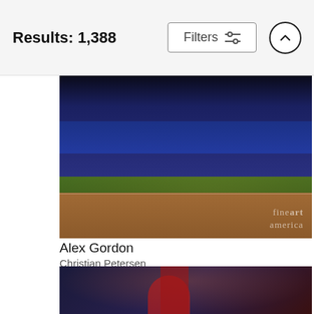Results: 1,388
Filters
[Figure (photo): Baseball player Alex Gordon in white Kansas City Royals uniform running on the field, with teammates celebrating in the background near the dugout. Nighttime game scene. Fine Art America watermark visible.]
Alex Gordon
Christian Petersen
$9.62
[Figure (photo): Partially visible baseball game photo showing a player in red uniform at the bottom, with a large crowd in the background. Nighttime stadium setting.]